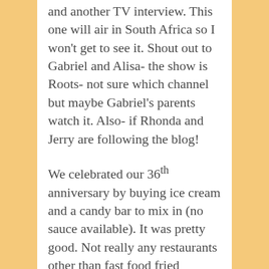and another TV interview. This one will air in South Africa so I won't get to see it. Shout out to Gabriel and Alisa- the show is Roots- not sure which channel but maybe Gabriel's parents watch it. Also- if Rhonda and Jerry are following the blog!
We celebrated our 36th anniversary by buying ice cream and a candy bar to mix in (no sauce available). It was pretty good. Not really any restaurants other than fast food fried chicken (KFC and its knock offs) so if we do get placed near Gaborone, maybe next year we will have more options. I can see from email that many of you commented on Alisha's post about our